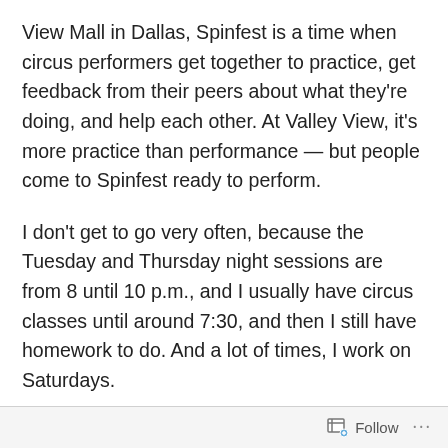View Mall in Dallas, Spinfest is a time when circus performers get together to practice, get feedback from their peers about what they're doing, and help each other. At Valley View, it's more practice than performance — but people come to Spinfest ready to perform.
I don't get to go very often, because the Tuesday and Thursday night sessions are from 8 until 10 p.m., and I usually have circus classes until around 7:30, and then I still have homework to do. And a lot of times, I work on Saturdays.
But I got to go this month, and it was a lot of fun…for the first hour or so. Then I tried a trick I haven't really mastered yet, and I fell off my rola-bola. It's the first time
Follow ···